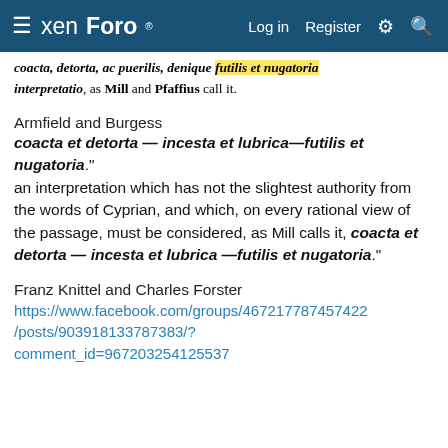xenForo  Log in  Register
coacta, detorta, ac puerilis, denique futilis et nugatoria interpretatio, as Mill and Pfaffius call it.
Armfield and Burgess
coacta et detorta — incesta et lubrica—futilis et nugatoria." an interpretation which has not the slightest authority from the words of Cyprian, and which, on every rational view of the passage, must be considered, as Mill calls it, coacta et detorta — incesta et lubrica —futilis et nugatoria."
Franz Knittel and Charles Forster
https://www.facebook.com/groups/467217787457422/posts/903918133787383/?comment_id=967203254125537